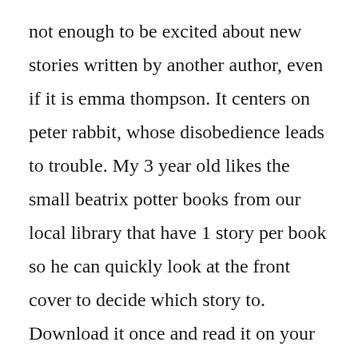not enough to be excited about new stories written by another author, even if it is emma thompson. It centers on peter rabbit, whose disobedience leads to trouble. My 3 year old likes the small beatrix potter books from our local library that have 1 story per book so he can quickly look at the front cover to decide which story to. Download it once and read it on your kindle device, pc, phones or tablets. Hop into the next adorable book in this series of charming board books about peter rabbit and his friends. The animation style of the world of peter rabbit and friends is very close